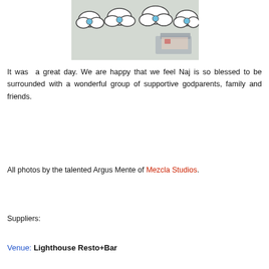[Figure (photo): Photo showing a wall decorated with cloud illustrations in blue and white, with some furniture visible in the background.]
It was  a great day. We are happy that we feel Naj is so blessed to be surrounded with a wonderful group of supportive godparents, family and friends.
All photos by the talented Argus Mente of Mezcla Studios.
Suppliers:
Venue: Lighthouse Resto+Bar